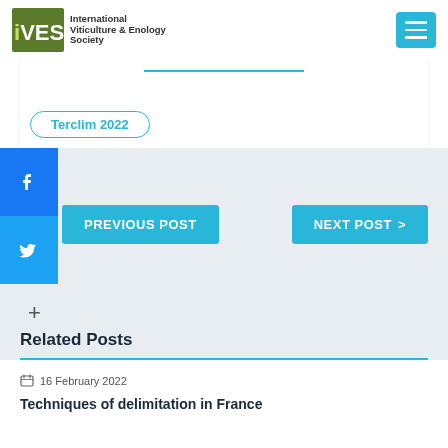[Figure (logo): IVES International Viticulture & Enology Society logo with green box and hamburger menu button]
Terclim 2022
[Figure (infographic): Facebook and Twitter social share sidebar icons in blue]
PREVIOUS POST
NEXT POST >
+
Related Posts
16 February 2022
Techniques of delimitation in France